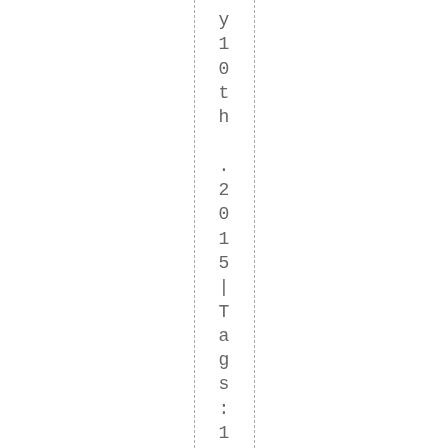y10th .2015 | Tags :1998 .1998